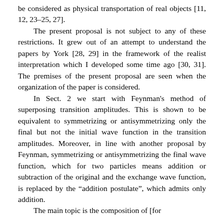be considered as physical transportation of real objects [11, 12, 23–25, 27].
The present proposal is not subject to any of these restrictions. It grew out of an attempt to understand the papers by York [28, 29] in the framework of the realist interpretation which I developed some time ago [30, 31]. The premises of the present proposal are seen when the organization of the paper is considered.
In Sect. 2 we start with Feynman's method of superposing transition amplitudes. This is shown to be equivalent to symmetrizing or antisymmetrizing only the final but not the initial wave function in the transition amplitudes. Moreover, in line with another proposal by Feynman, symmetrizing or antisymmetrizing the final wave function, which for two particles means addition or subtraction of the original and the exchange wave function, is replaced by the “addition postulate”, which admits only addition.
The main topic is the composition of [continues...]